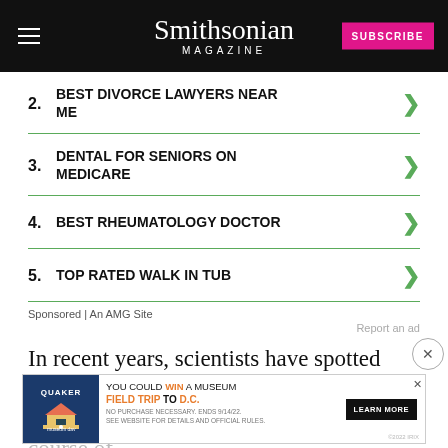Smithsonian MAGAZINE
2. BEST DIVORCE LAWYERS NEAR ME
3. DENTAL FOR SENIORS ON MEDICARE
4. BEST RHEUMATOLOGY DOCTOR
5. TOP RATED WALK IN TUB
Sponsored | An AMG Site
Report an ad
In recent years, scientists have spotted nearly half of all living right whales over the course of the s... for a new record. Researchers began getting reports of